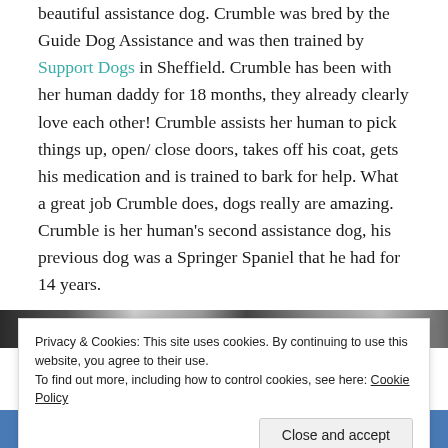beautiful assistance dog. Crumble was bred by the Guide Dog Assistance and was then trained by Support Dogs in Sheffield. Crumble has been with her human daddy for 18 months, they already clearly love each other! Crumble assists her human to pick things up, open/ close doors, takes off his coat, gets his medication and is trained to bark for help. What a great job Crumble does, dogs really are amazing. Crumble is her human's second assistance dog, his previous dog was a Springer Spaniel that he had for 14 years.
[Figure (photo): Partial photo strip showing a crowd scene, partially obscured by cookie banner]
Privacy & Cookies: This site uses cookies. By continuing to use this website, you agree to their use.
To find out more, including how to control cookies, see here: Cookie Policy
Close and accept
[Figure (photo): Bottom partial photo showing blue clothing/scene]